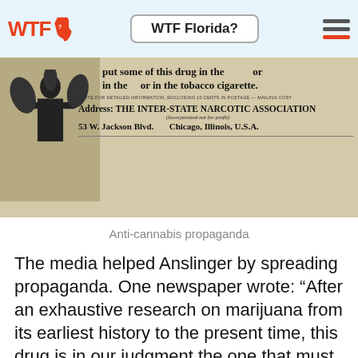WTF Florida?
[Figure (photo): Black and white vintage anti-cannabis propaganda image showing text: 'put some of this drug in the [image] or in the [image] or in the tobacco cigarette. WRITE FOR DETAILED INFORMATION, ENCLOSING 10 CENTS IN POSTAGE — MAILING COST. Address: THE INTER-STATE NARCOTIC ASSOCIATION (Incorporated not for profit) 53 W. Jackson Blvd. Chicago, Illinois, U.S.A.']
Anti-cannabis propaganda
The media helped Anslinger by spreading propaganda. One newspaper wrote: “After an exhaustive research on marijuana from its earliest history to the present time, this drug is in our judgment the one that must be eliminated entirely.” [T]he evidence was nothing but quotations from the most hysterical series of newspaper articles to